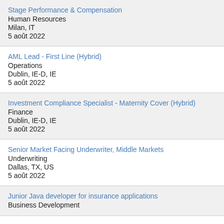Stage Performance & Compensation
Human Resources
Milan, IT
5 août 2022
AML Lead - First Line (Hybrid)
Operations
Dublin, IE-D, IE
5 août 2022
Investment Compliance Specialist - Maternity Cover (Hybrid)
Finance
Dublin, IE-D, IE
5 août 2022
Senior Market Facing Underwriter, Middle Markets
Underwriting
Dallas, TX, US
5 août 2022
Junior Java developer for insurance applications
Business Development